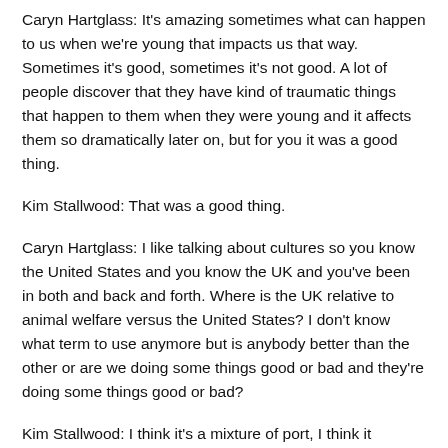Caryn Hartglass: It's amazing sometimes what can happen to us when we're young that impacts us that way. Sometimes it's good, sometimes it's not good. A lot of people discover that they have kind of traumatic things that happen to them when they were young and it affects them so dramatically later on, but for you it was a good thing.
Kim Stallwood: That was a good thing.
Caryn Hartglass: I like talking about cultures so you know the United States and you know the UK and you've been in both and back and forth. Where is the UK relative to animal welfare versus the United States? I don't know what term to use anymore but is anybody better than the other or are we doing some things good or bad and they're doing some things good or bad?
Kim Stallwood: I think it's a mixture of port, I think it depends on the area that you look at and I think some of the advantages of this culture of America which we don't have in Britain means that you are far more advanced in that area. For example, I'm thinking particularly of animal law. We do have legislation, we have laws